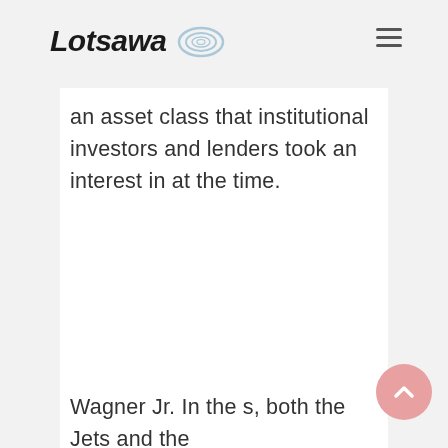Lotsawa
an asset class that institutional investors and lenders took an interest in at the time.
Wagner Jr. In the s, both the Jets and the